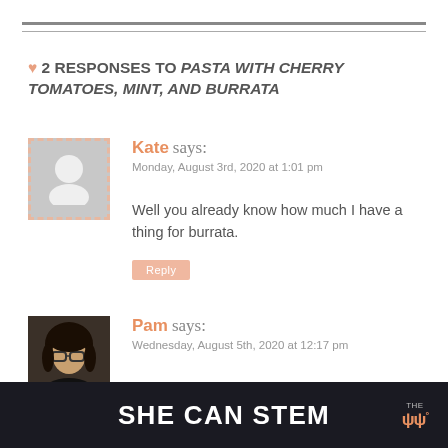♥ 2 RESPONSES TO PASTA WITH CHERRY TOMATOES, MINT, AND BURRATA
Kate says:
Monday, August 3rd, 2020 at 1:01 pm

Well you already know how much I have a thing for burrata.
Reply
Pam says:
Wednesday, August 5th, 2020 at 12:17 pm
SHE CAN STEM